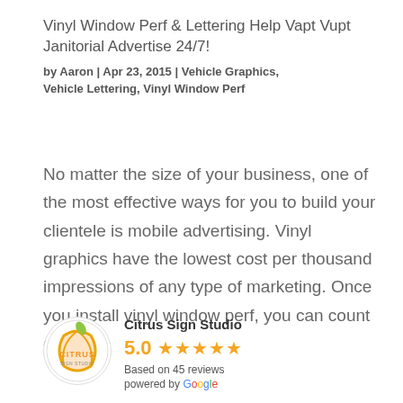Vinyl Window Perf & Lettering Help Vapt Vupt Janitorial Advertise 24/7!
by Aaron | Apr 23, 2015 | Vehicle Graphics, Vehicle Lettering, Vinyl Window Perf
No matter the size of your business, one of the most effective ways for you to build your clientele is mobile advertising. Vinyl graphics have the lowest cost per thousand impressions of any type of marketing. Once you install vinyl window perf, you can count on…
[Figure (logo): Citrus Sign Studio logo — circular logo with citrus fruit graphic and 'CITRUS' text]
Citrus Sign Studio
5.0 ★★★★★
Based on 45 reviews
powered by Google